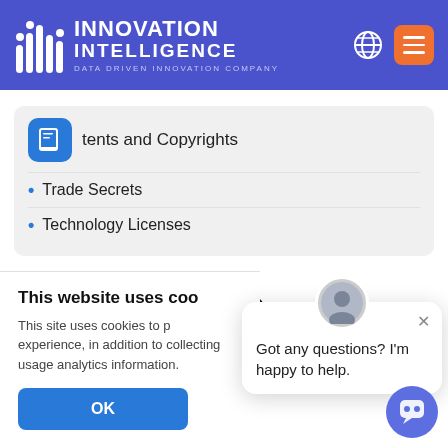INNOVATION INTELLIGENCE DATA DRIVEN INNOVATION COMPANY
tents and Copyrights
Trade Secrets
Technology Licenses
Ma
This website uses coo
This site uses cookies to p experience, in addition to collecting usage analytics information.
OK
Got any questions? I'm happy to help.